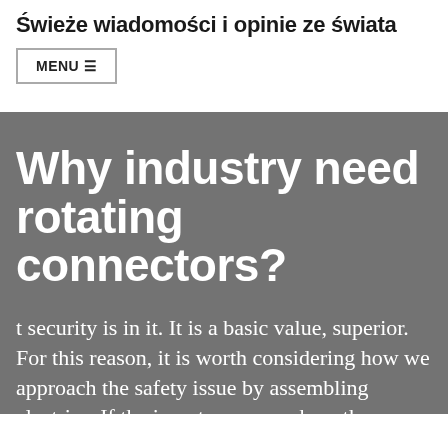Świeże wiadomości i opinie ze świata
MENU ☰
Why industry need rotating connectors?
t security is in it. It is a basic value, superior. For this reason, it is worth considering how we approach the safety issue by assembling electrics. If the inverters are anyhow the answer arises itself. It is, however,